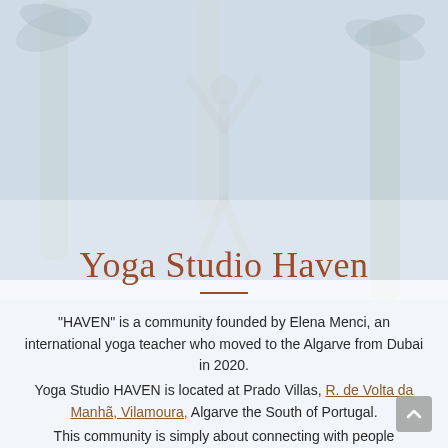[Figure (photo): Background photo of palm trees and a yoga practitioner in a pose, with a light blue-grey sky. Image is faded/washed out to serve as a background.]
Yoga Studio Haven
"HAVEN" is a community founded by Elena Menci, an international yoga teacher who moved to the Algarve from Dubai in 2020.
Yoga Studio HAVEN is located at Prado Villas, R. de Volta da Manhã, Vilamoura, Algarve the South of Portugal.
This community is simply about connecting with people